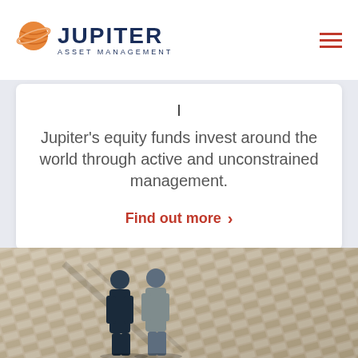[Figure (logo): Jupiter Asset Management logo with orange planet/globe icon and dark navy text]
Jupiter's equity funds invest around the world through active and unconstrained management.
Find out more ›
[Figure (photo): Aerial view of two businessmen in suits walking on a decorative paved plaza/courtyard with geometric tile pattern]
Contact us